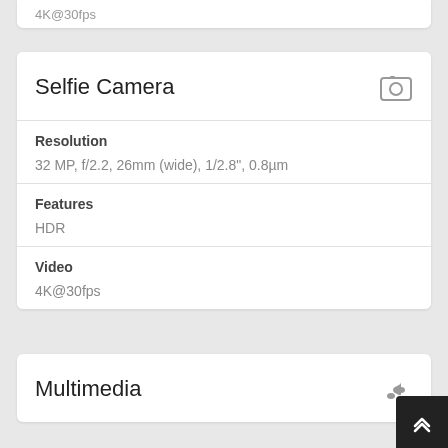4K@30fps
Selfie Camera
Resolution
32 MP, f/2.2, 26mm (wide), 1/2.8", 0.8µm
Features
HDR
Video
4K@30fps
Multimedia